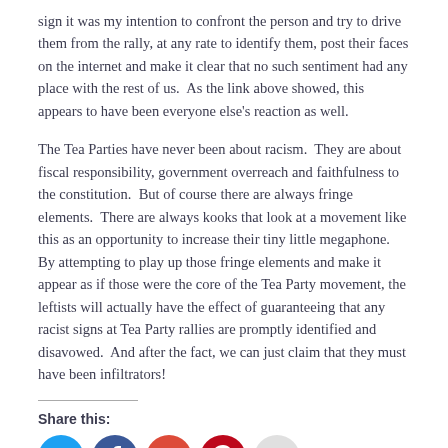sign it was my intention to confront the person and try to drive them from the rally, at any rate to identify them, post their faces on the internet and make it clear that no such sentiment had any place with the rest of us.  As the link above showed, this appears to have been everyone else's reaction as well.
The Tea Parties have never been about racism.  They are about fiscal responsibility, government overreach and faithfulness to the constitution.  But of course there are always fringe elements.  There are always kooks that look at a movement like this as an opportunity to increase their tiny little megaphone.  By attempting to play up those fringe elements and make it appear as if those were the core of the Tea Party movement, the leftists will actually have the effect of guaranteeing that any racist signs at Tea Party rallies are promptly identified and disavowed.  And after the fact, we can just claim that they must have been infiltrators!
Share this:
[Figure (infographic): Row of five social share buttons: Twitter (blue circle), Facebook (dark blue circle), Google+ (red circle), Pinterest (dark red circle), Email (light grey circle)]